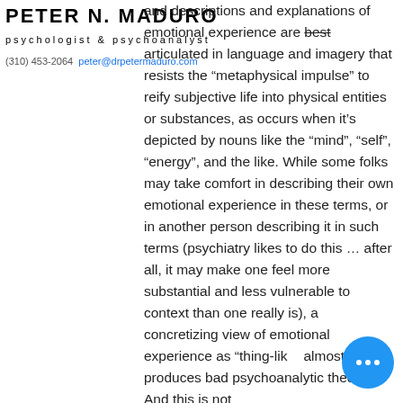PETER N. MADURO
psychologist & psychoanalyst
(310) 453-2064  peter@drpetermaduro.com
and descriptions and explanations of emotional experience are best articulated in language and imagery that resists the “metaphysical impulse” to reify subjective life into physical entities or substances, as occurs when it’s depicted by nouns like the “mind”, “self”, “energy”, and the like. While some folks may take comfort in describing their own emotional experience in these terms, or in another person describing it in such terms (psychiatry likes to do this … after all, it may make one feel more substantial and less vulnerable to context than one really is), a concretizing view of emotional experience as “thing-like” almost always produces bad psychoanalytic theory. And this is not